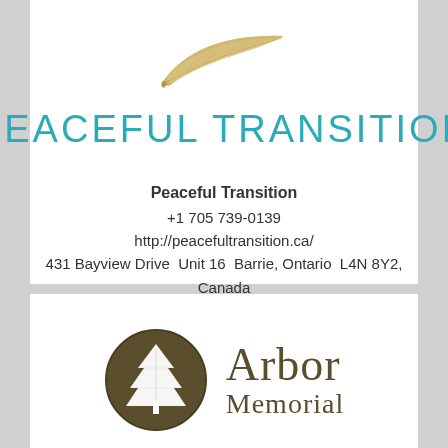[Figure (logo): Peaceful Transition feather logo — a golden/tan feather SVG illustration]
PEACEFUL TRANSITION
Peaceful Transition
+1 705 739-0139
http://peacefultransition.ca/
431 Bayview Drive  Unit 16  Barrie, Ontario  L4N 8Y2, Canada
[Figure (logo): Arbor Memorial logo — circular dark olive emblem with white tree, beside the text 'Arbor Memorial']